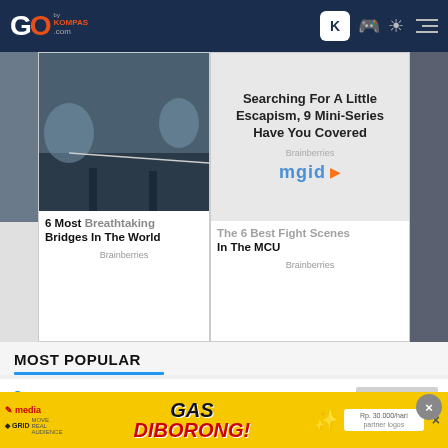GO by Kompas.com
[Figure (screenshot): Brainberries ad cards showing movie/travel images with titles '6 Most Breathtaking Bridges In The World' and 'The 6 Best Fight Scenes In The MCU', plus mgid overlay ad 'Searching For A Little Escapism, 9 Mini-Series Have You Covered']
MOST POPULAR
1 Indonesia Calls for More G20 Action on Climate Change
[Figure (screenshot): Yellow advertisement banner: GAS DIBORONG! by vmedia/GRID network, Rp. 30.000/hari]